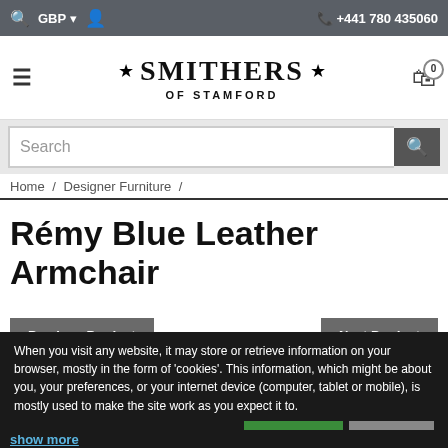GBP  +441 780 435060
[Figure (logo): Smithers of Stamford logo with stars]
Search
Home / Designer Furniture /
Rémy Blue Leather Armchair
Previous Product
Next Product
This elegant Butter Leather Wingback Armchair suits literally the choice of a beautiful living room.
When you visit any website, it may store or retrieve information on your browser, mostly in the form of 'cookies'. This information, which might be about you, your preferences, or your internet device (computer, tablet or mobile), is mostly used to make the site work as you expect it to.
More info
Accept all
Reject all
show more